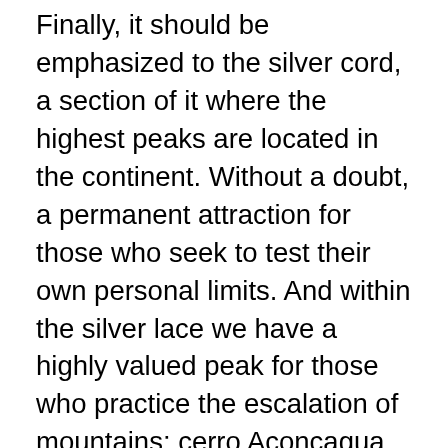Finally, it should be emphasized to the silver cord, a section of it where the highest peaks are located in the continent. Without a doubt, a permanent attraction for those who seek to test their own personal limits. And within the silver lace we have a highly valued peak for those who practice the escalation of mountains: cerro Aconcagua. Only to practice tourism, adventure is not precise to go to these lengths. Cycling is a lot of paths and circuits outlined for an enjoyable and safe practice at Mendoza. Departing from the city of Mendoza can be different excursions aboard a bicycle, as for example the legendary wine route, whereby you can visit several wineries and vineyards in the vicinity of the city... Rural tourism is also interesting proposals in this province in